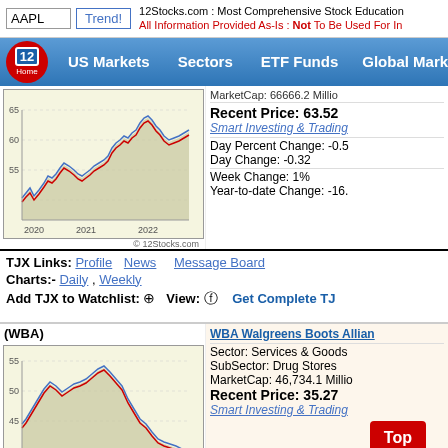AAPL | Trend! | 12Stocks.com : Most Comprehensive Stock Education | All Information Provided As-Is : Not To Be Used For Investment Advice
US Markets | Sectors | ETF Funds | Global Markets
[Figure (line-chart): Line chart showing TJX stock price from 2020 to 2022, ranging approximately 55-65, with blue and red lines on beige background. X-axis: 2020, 2021, 2022. Y-axis: 55, 60, 65.]
MarketCap: 66666.2 Millio
Recent Price: 63.52
Smart Investing & Trading
Day Percent Change: -0.5
Day Change: -0.32
Week Change: 1%
Year-to-date Change: -16.
TJX Links: Profile  News  Message Board
Charts:- Daily , Weekly
Add TJX to Watchlist: ⊕  View: ⓥ  Get Complete TJ
(WBA)
[Figure (line-chart): Line chart showing WBA stock price from 2020 to 2022, with values ranging approximately 45-55, blue and red lines on beige background.]
WBA Walgreens Boots Allian
Sector: Services & Goods
SubSector: Drug Stores
MarketCap: 46,734.1 Millio
Recent Price: 35.27
Smart Investing & Trading